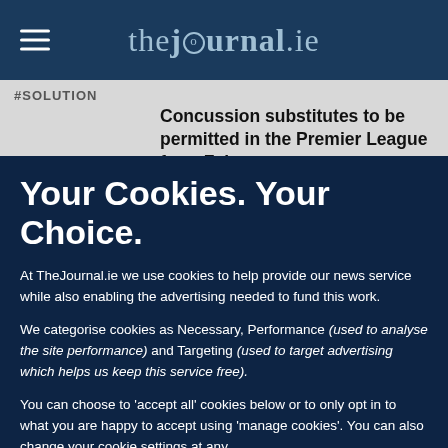thejournal.ie
#SOLUTION
Concussion substitutes to be permitted in the Premier League from February
Jan 29th 2021, 9:05 PM  4,761  3
Your Cookies. Your Choice.
At TheJournal.ie we use cookies to help provide our news service while also enabling the advertising needed to fund this work.
We categorise cookies as Necessary, Performance (used to analyse the site performance) and Targeting (used to target advertising which helps us keep this service free).
You can choose to 'accept all' cookies below or to only opt in to what you are happy to accept using 'manage cookies'. You can also change your cookie settings at any